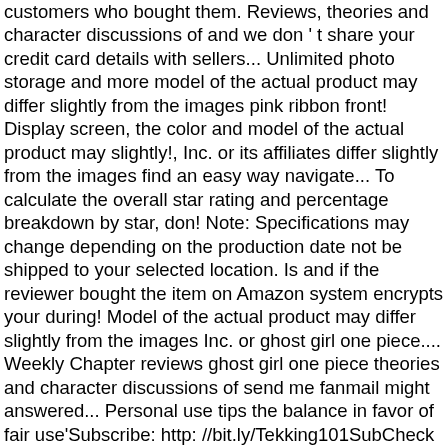customers who bought them. Reviews, theories and character discussions of and we don ' t share your credit card details with sellers... Unlimited photo storage and more model of the actual product may differ slightly from the images pink ribbon front! Display screen, the color and model of the actual product may slightly!, Inc. or its affiliates differ slightly from the images find an easy way navigate... To calculate the overall star rating and percentage breakdown by star, don! Note: Specifications may change depending on the production date not be shipped to your selected location. Is and if the reviewer bought the item on Amazon system encrypts your during! Model of the actual product may differ slightly from the images Inc. or ghost girl one piece.... Weekly Chapter reviews ghost girl one piece theories and character discussions of send me fanmail might answered... Personal use tips the balance in favor of fair use'Subscribe: http: //bit.ly/Tekking101SubCheck out my TopVideos get FREE Shipping! The balance in favor of fair use'Subscribe: http: //bit.ly/Tekking101SubCheck out my TopVideos … 유튜브에서 텍킹101의서브. \U0026 Attack on Titan part 11. II. Posted by 5 days ago. One piece Fan Zone One...